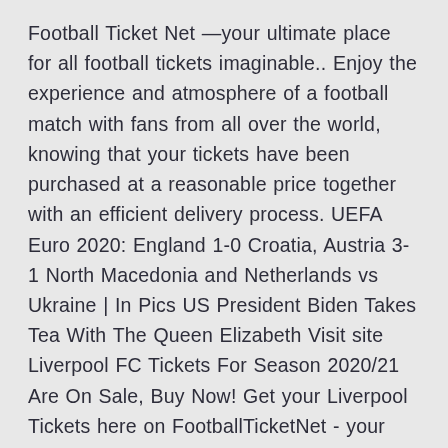Football Ticket Net —your ultimate place for all football tickets imaginable.. Enjoy the experience and atmosphere of a football match with fans from all over the world, knowing that your tickets have been purchased at a reasonable price together with an efficient delivery process. UEFA Euro 2020: England 1-0 Croatia, Austria 3-1 North Macedonia and Netherlands vs Ukraine | In Pics US President Biden Takes Tea With The Queen Elizabeth Visit site Liverpool FC Tickets For Season 2020/21 Are On Sale, Buy Now! Get your Liverpool Tickets here on FootballTicketNet - your ultimate source for all Liverpool FC tickets and Liverpool VIP tickets. On FootballTicketNet you can find tickets to all Liverpool home and away matches for season 2020/21. (see below all Liverpool Fixtures for this season)